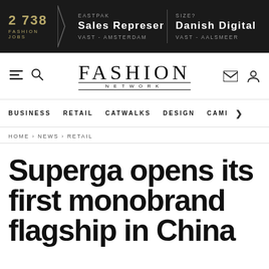2 738 FASHION JOBS | EASTPAK Sales Representative VAST - AMSTERDAM | SIZE? Danish Digital M... VAST - AALSMEER
[Figure (screenshot): Fashion Network website header with logo, navigation icons, menu bar, breadcrumb, and article title]
Superga opens its first monobrand flagship in China